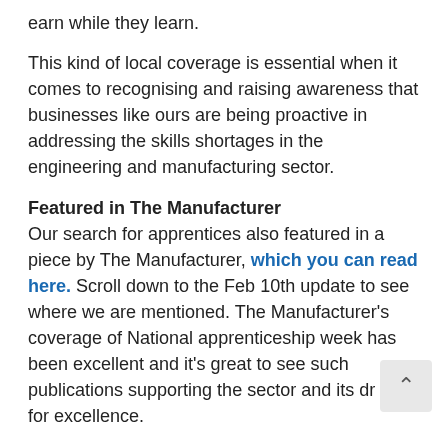earn while they learn.
This kind of local coverage is essential when it comes to recognising and raising awareness that businesses like ours are being proactive in addressing the skills shortages in the engineering and manufacturing sector.
Featured in The Manufacturer
Our search for apprentices also featured in a piece by The Manufacturer, which you can read here. Scroll down to the Feb 10th update to see where we are mentioned. The Manufacturer's coverage of National apprenticeship week has been excellent and it's great to see such publications supporting the sector and its drive for excellence.